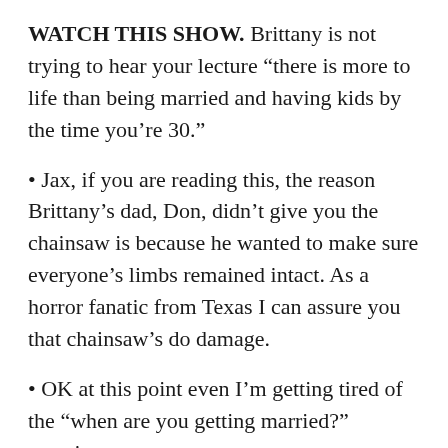WATCH THIS SHOW. Brittany is not trying to hear your lecture “there is more to life than being married and having kids by the time you’re 30.”
• Jax, if you are reading this, the reason Brittany’s dad, Don, didn’t give you the chainsaw is because he wanted to make sure everyone’s limbs remained intact. As a horror fanatic from Texas I can assure you that chainsaw’s do damage.
• OK at this point even I’m getting tired of the “when are you getting married?” questions.
• Oh no, bible verses. Listen, you can’t just spring bible verses on someone who just tried – and failed – to prove their manliness by swinging